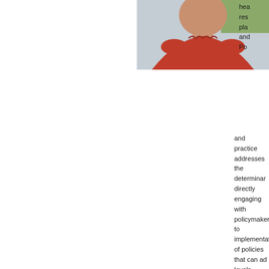[Figure (photo): Person wearing a red top, photo cropped at top portion showing head and upper torso]
hea res pla and Po and practice addresses the determinan directly engaging with policymakers to implementation of policies that can ad levels.
PH
[Figure (photo): Second person photo, partially visible behind cookie banner overlay]
Ph Lou and his Vir As Lou bo on cla
This website uses cookies to improve content delivery.
Learn more
Got it!